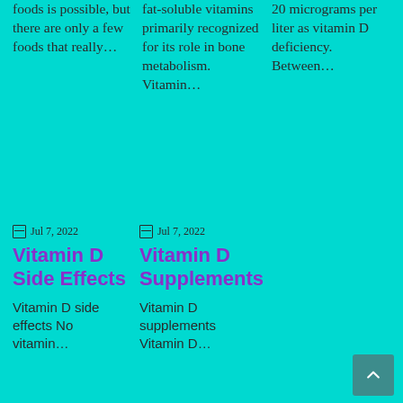foods is possible, but there are only a few foods that really…
fat-soluble vitamins primarily recognized for its role in bone metabolism. Vitamin…
20 micrograms per liter as vitamin D deficiency. Between…
Jul 7, 2022
Vitamin D Side Effects
Vitamin D side effects No vitamin…
Jul 7, 2022
Vitamin D Supplements
Vitamin D supplements Vitamin D…